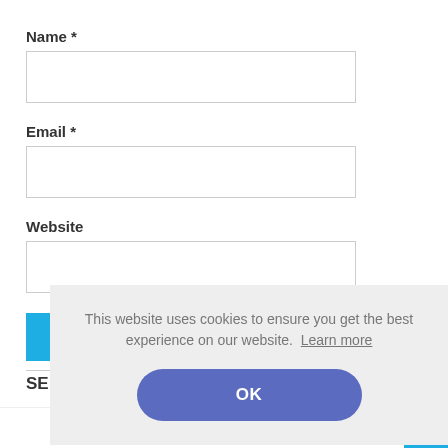Name *
[Figure (screenshot): Empty text input field for Name]
Email *
[Figure (screenshot): Empty text input field for Email]
Website
[Figure (screenshot): Empty text input field for Website]
[Figure (screenshot): Blue submit button (partially visible)]
SE (section label, partially occluded)
This website uses cookies to ensure you get the best experience on our website.  Learn more
OK